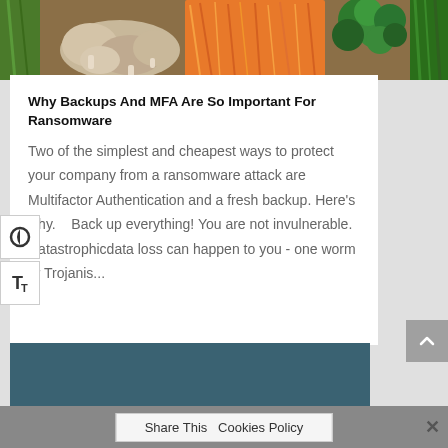[Figure (photo): Close-up photo of mixed vegetables on a cutting board including mushrooms, shredded orange carrots/squash, broccoli, and herbs]
Why Backups And MFA Are So Important For Ransomware
Two of the simplest and cheapest ways to protect your company from a ransomware attack are Multifactor Authentication and a fresh backup. Here's why.   Back up everything! You are not invulnerable. Catastrophicdata loss can happen to you - one worm or Trojanis...
[Figure (screenshot): Dark teal footer area of website]
Share This Cookies Policy